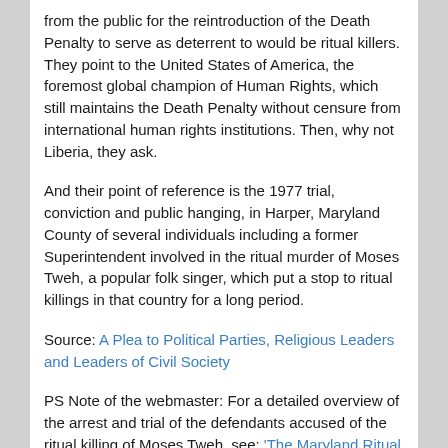from the public for the reintroduction of the Death Penalty to serve as deterrent to would be ritual killers. They point to the United States of America, the foremost global champion of Human Rights, which still maintains the Death Penalty without censure from international human rights institutions. Then, why not Liberia, they ask.
And their point of reference is the 1977 trial, conviction and public hanging, in Harper, Maryland County of several individuals including a former Superintendent involved in the ritual murder of Moses Tweh, a popular folk singer, which put a stop to ritual killings in that country for a long period.
Source: A Plea to Political Parties, Religious Leaders and Leaders of Civil Society
PS Note of the webmaster: For a detailed overview of the arrest and trial of the defendants accused of the ritual killing of Moses Tweh, see: 'The Maryland Ritual Murders – Liberia's most notorious ritual killing case'. Warning: